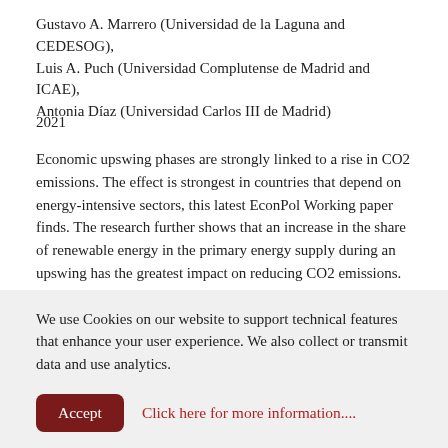Gustavo A. Marrero (Universidad de la Laguna and CEDESOG), Luis A. Puch (Universidad Complutense de Madrid and ICAE), Antonia Díaz (Universidad Carlos III de Madrid)
2021
Economic upswing phases are strongly linked to a rise in CO2 emissions. The effect is strongest in countries that depend on energy-intensive sectors, this latest EconPol Working paper finds. The research further shows that an increase in the share of renewable energy in the primary energy supply during an upswing has the greatest impact on reducing CO2 emissions. According to the authors, the study's results lead to an important conclusion: European environmental policy should
We use Cookies on our website to support technical features that enhance your user experience. We also collect or transmit data and use analytics.
Accept   Click here for more information....